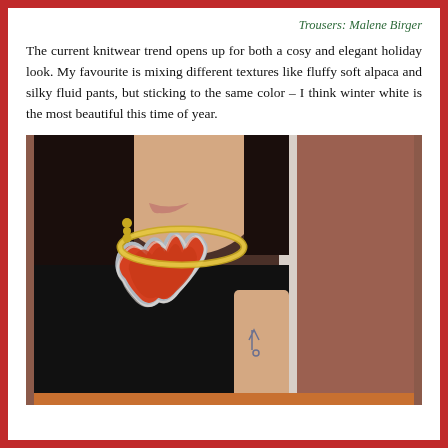Trousers: Malene Birger
The current knitwear trend opens up for both a cosy and elegant holiday look. My favourite is mixing different textures like fluffy soft alpaca and silky fluid pants, but sticking to the same color – I think winter white is the most beautiful this time of year.
[Figure (photo): Close-up photo of a woman with dark hair wearing a black sleeveless top with a decorative red and silver wavy neckline cutout, a gold chain necklace, gold drop earrings, and a small tattoo visible on her arm. Background shows a white wall panel and brownish-pink wall.]